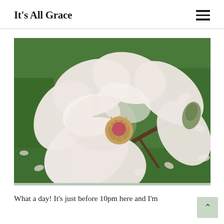It's All Grace
[Figure (photo): Close-up photograph of a large white/pale pink magnolia flower in bloom, with a pink and gold center stamen. Green grass and fallen petals visible in the background.]
What a day! It's just before 10pm here and I'm